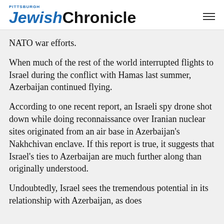Pittsburgh Jewish Chronicle
NATO war efforts.
When much of the rest of the world interrupted flights to Israel during the conflict with Hamas last summer, Azerbaijan continued flying.
According to one recent report, an Israeli spy drone shot down while doing reconnaissance over Iranian nuclear sites originated from an air base in Azerbaijan's Nakhchivan enclave. If this report is true, it suggests that Israel's ties to Azerbaijan are much further along than originally understood.
Undoubtedly, Israel sees the tremendous potential in its relationship with Azerbaijan, as does